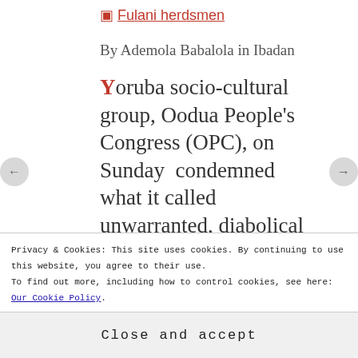[Figure (illustration): Image placeholder link labeled 'Fulani herdsmen' with a red icon]
By Ademola Babalola in Ibadan
Yoruba socio-cultural group, Oodua People's Congress (OPC), on Sunday condemned what it called unwarranted, diabolical and fatal attacks on Yorubaland and its people as well as other non-indigenous inhabitants by
Privacy & Cookies: This site uses cookies. By continuing to use this website, you agree to their use.
To find out more, including how to control cookies, see here: Our Cookie Policy
Close and accept
The group made the condemnation in a statement